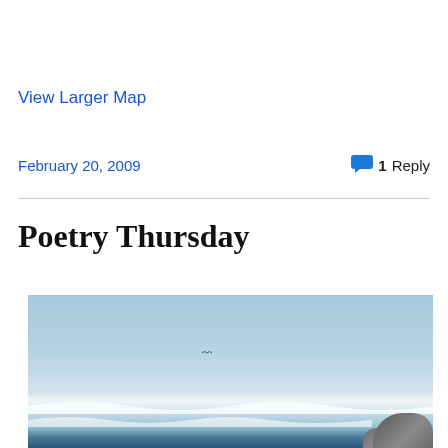View Larger Map
February 20, 2009
1 Reply
Poetry Thursday
[Figure (photo): Coastal beach scene with blue sky, ocean waves, and dark rocks in the lower right corner. A small bird is visible in the sky.]